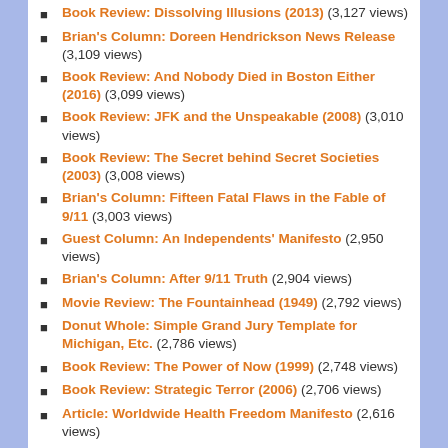Book Review: Dissolving Illusions (2013) (3,127 views)
Brian's Column: Doreen Hendrickson News Release (3,109 views)
Book Review: And Nobody Died in Boston Either (2016) (3,099 views)
Book Review: JFK and the Unspeakable (2008) (3,010 views)
Book Review: The Secret behind Secret Societies (2003) (3,008 views)
Brian's Column: Fifteen Fatal Flaws in the Fable of 9/11 (3,003 views)
Guest Column: An Independents' Manifesto (2,950 views)
Brian's Column: After 9/11 Truth (2,904 views)
Movie Review: The Fountainhead (1949) (2,792 views)
Donut Whole: Simple Grand Jury Template for Michigan, Etc. (2,786 views)
Book Review: The Power of Now (1999) (2,748 views)
Book Review: Strategic Terror (2006) (2,706 views)
Article: Worldwide Health Freedom Manifesto (2,616 views)
Book Review: Classified Woman (2012) (2,606 views)